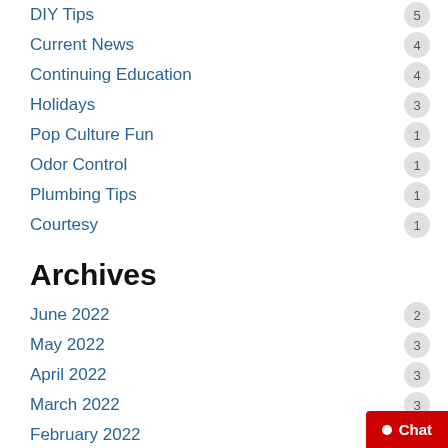DIY Tips 5
Current News 4
Continuing Education 4
Holidays 3
Pop Culture Fun 1
Odor Control 1
Plumbing Tips 1
Courtesy 1
Archives
June 2022 2
May 2022 3
April 2022 3
March 2022 3
February 2022 3
January 2022 2
December 2021